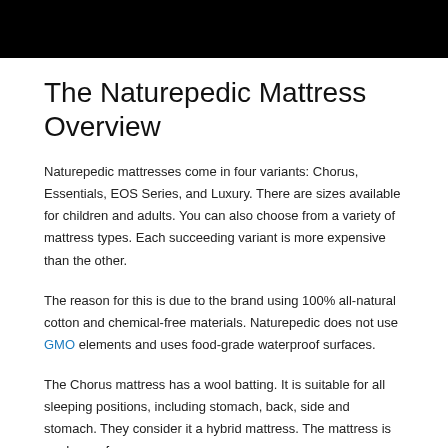[Figure (other): Black header banner image at the top of the page]
The Naturepedic Mattress Overview
Naturepedic mattresses come in four variants: Chorus, Essentials, EOS Series, and Luxury. There are sizes available for children and adults. You can also choose from a variety of mattress types. Each succeeding variant is more expensive than the other.
The reason for this is due to the brand using 100% all-natural cotton and chemical-free materials. Naturepedic does not use GMO elements and uses food-grade waterproof surfaces.
The Chorus mattress has a wool batting. It is suitable for all sleeping positions, including stomach, back, side and stomach. They consider it a hybrid mattress. The mattress is made up of a